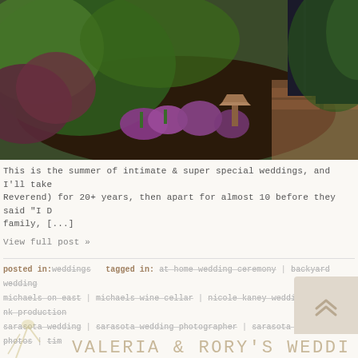[Figure (photo): Outdoor garden scene with purple flowers, green foliage, dark mulch, a copper pathway light fixture, and a person in dark suit pants standing on a brick path]
This is the summer of intimate & super special weddings, and I'll take Reverend) for 20+ years, then apart for almost 10 before they said "I D family, [...]
View full post »
posted in:weddings   tagged in: at-home wedding ceremony | backyard wedding michaels on east | michaels wine cellar | nicole kaney wedding photos | nk production sarasota wedding | sarasota wedding photographer | sarasota wedding photos | tim
VALERIA & RORY'S WEDDI